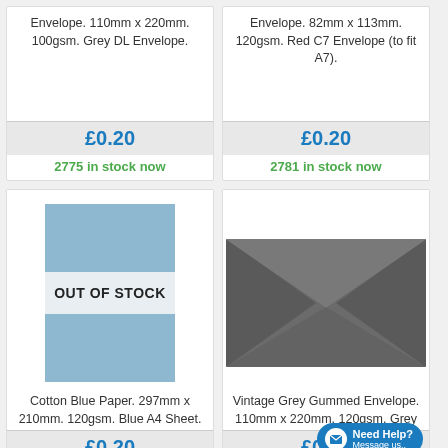Envelope. 110mm x 220mm. 100gsm. Grey DL Envelope.
£0.20
2775 in stock now
Envelope. 82mm x 113mm. 120gsm. Red C7 Envelope (to fit A7).
£0.20
2781 in stock now
[Figure (photo): Cotton Blue Paper shown with OUT OF STOCK overlay banner across middle]
Cotton Blue Paper. 297mm x 210mm. 120gsm. Blue A4 Sheet.
£0.20
[Figure (photo): Vintage Grey Gummed Envelope, grey colored envelope shown with flap visible]
Vintage Grey Gummed Envelope. 110mm x 220mm. 120gsm. Grey
£0.20